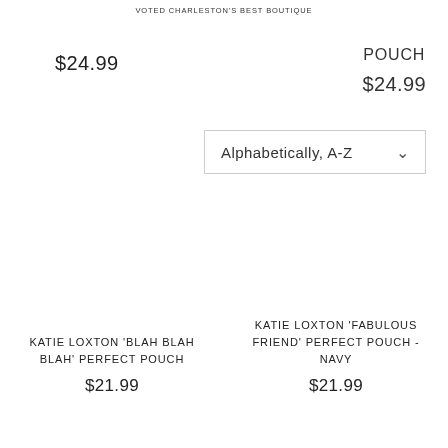VOTED CHARLESTON'S BEST BOUTIQUE
$24.99
POUCH
$24.99
Alphabetically, A-Z
KATIE LOXTON 'BLAH BLAH BLAH' PERFECT POUCH
$21.99
KATIE LOXTON 'FABULOUS FRIEND' PERFECT POUCH - NAVY
$21.99